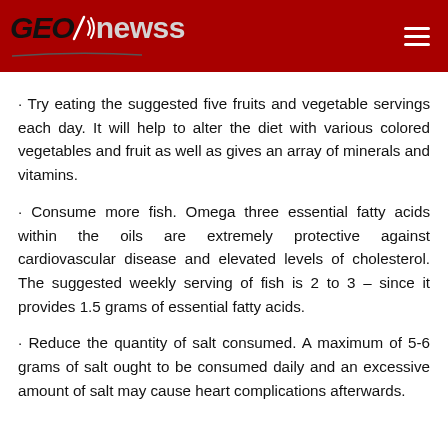GEOnewss
· Try eating the suggested five fruits and vegetable servings each day. It will help to alter the diet with various colored vegetables and fruit as well as gives an array of minerals and vitamins.
· Consume more fish. Omega three essential fatty acids within the oils are extremely protective against cardiovascular disease and elevated levels of cholesterol. The suggested weekly serving of fish is 2 to 3 – since it provides 1.5 grams of essential fatty acids.
· Reduce the quantity of salt consumed. A maximum of 5-6 grams of salt ought to be consumed daily and an excessive amount of salt may cause heart complications afterwards.